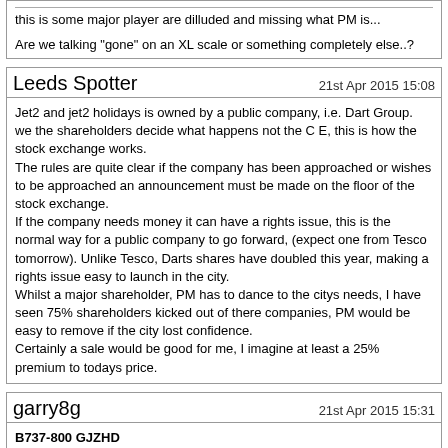this is some major player are dilluded and missing what PM is...
Are we talking "gone" on an XL scale or something completely else..?
Leeds Spotter
21st Apr 2015 15:08
Jet2 and jet2 holidays is owned by a public company, i.e. Dart Group. we the shareholders decide what happens not the C E, this is how the stock exchange works.
The rules are quite clear if the company has been approached or wishes to be approached an announcement must be made on the floor of the stock exchange.
If the company needs money it can have a rights issue, this is the normal way for a public company to go forward, (expect one from Tesco tomorrow). Unlike Tesco, Darts shares have doubled this year, making a rights issue easy to launch in the city.
Whilst a major shareholder, PM has to dance to the citys needs, I have seen 75% shareholders kicked out of there companies, PM would be easy to remove if the city lost confidence.
Certainly a sale would be good for me, I imagine at least a 25% premium to todays price.
garry8g
21st Apr 2015 15:31
B737-800 GJZHD
DDevil